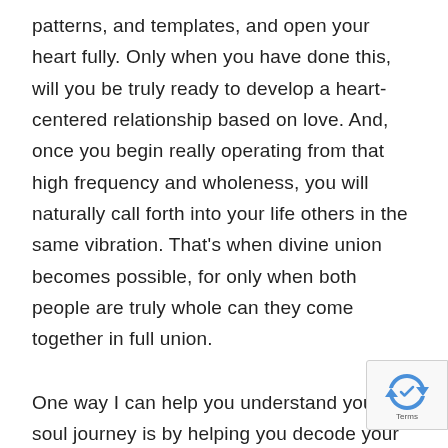patterns, and templates, and open your heart fully. Only when you have done this, will you be truly ready to develop a heart-centered relationship based on love. And, once you begin really operating from that high frequency and wholeness, you will naturally call forth into your life others in the same vibration. That’s when divine union becomes possible, for only when both people are truly whole can they come together in full union.
One way I can help you understand your soul journey is by helping you decode your natal chart, which is a map of that journey. Your natal